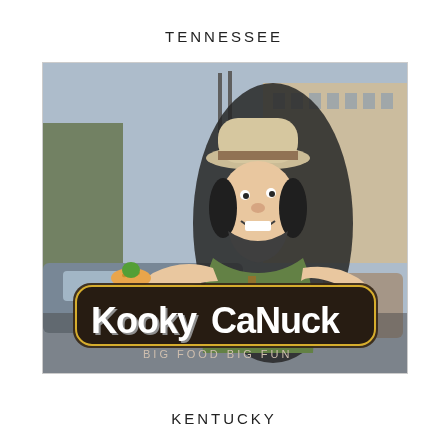TENNESSEE
[Figure (photo): A restaurant window decal showing the Kooky Canuck logo — a cartoon mountain-man character in a ranger hat holding a large burger on a plate, with the text 'Kooky Canuck' in large styled letters and 'Big Food Big Fun' below. Street scene with cars and buildings visible through/behind the window.]
KENTUCKY